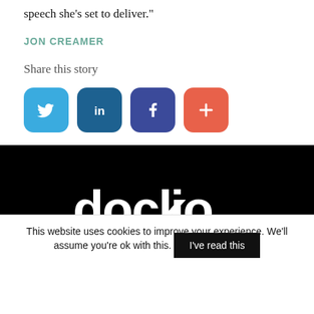speech she’s set to deliver.”
JON CREAMER
Share this story
[Figure (infographic): Four social media share buttons: Twitter (blue bird icon), LinkedIn (dark blue 'in'), Facebook (dark blue/purple 'f'), and a red/orange plus button]
[Figure (logo): dock.io logo in white text on black background]
This website uses cookies to improve your experience. We’ll assume you’re ok with this.
I’ve read this